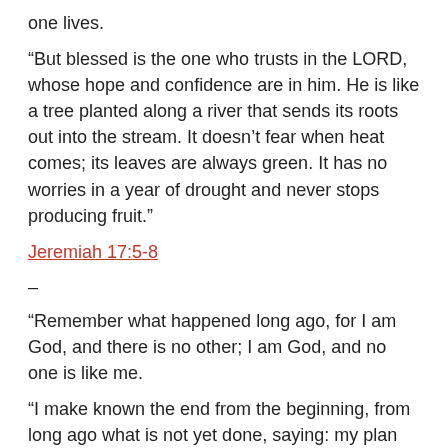one lives.
“But blessed is the one who trusts in the LORD, whose hope and confidence are in him. He is like a tree planted along a river that sends its roots out into the stream. It doesn’t fear when heat comes; its leaves are always green. It has no worries in a year of drought and never stops producing fruit.”
Jeremiah 17:5-8
–
“Remember what happened long ago, for I am God, and there is no other; I am God, and no one is like me.
“I make known the end from the beginning, from long ago what is not yet done, saying: my plan will take place, and I will do all my will.”
Isaiah 46:9-10